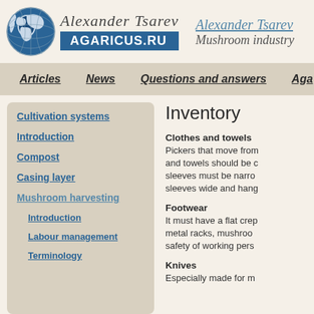[Figure (logo): Globe logo with Alexander Tsarev script text and AGARICUS.RU blue banner]
Alexander Tsarev
Mushroom industry
Articles | News | Questions and answers | Aga...
Cultivation systems
Introduction
Compost
Casing layer
Mushroom harvesting
Introduction
Labour management
Terminology
Inventory
Clothes and towels
Pickers that move from and towels should be c sleeves must be narro sleeves wide and hang
Footwear
It must have a flat crep metal racks, mushroo safety of working pers
Knives
Especially made for m